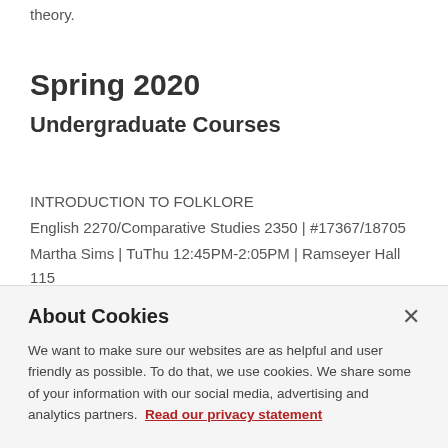theory.
Spring 2020
Undergraduate Courses
INTRODUCTION TO FOLKLORE
English 2270/Comparative Studies 2350 | #17367/18705
Martha Sims | TuThu 12:45PM-2:05PM | Ramseyer Hall 115
Folklore is the culture that people make for themselves. Folklore is cherished by families or danced on the streets
About Cookies
We want to make sure our websites are as helpful and user friendly as possible. To do that, we use cookies. We share some of your information with our social media, advertising and analytics partners.  Read our privacy statement